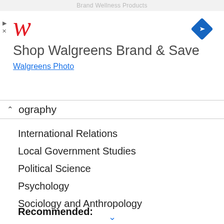[Figure (screenshot): Walgreens advertisement banner showing Walgreens logo, navigation arrow icon, 'Shop Walgreens Brand & Save' text, and 'Walgreens Photo' subtitle with play/close controls]
ography
International Relations
Local Government Studies
Political Science
Psychology
Sociology and Anthropology
Recommended: